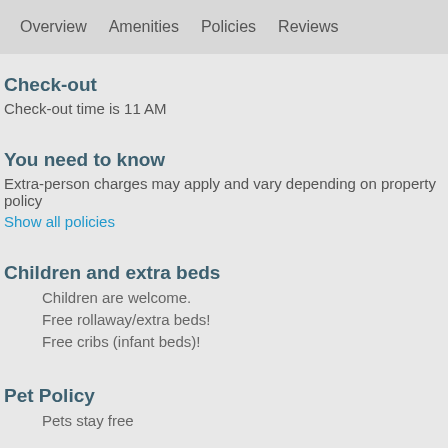Overview   Amenities   Policies   Reviews
Check-out
Check-out time is 11 AM
You need to know
Extra-person charges may apply and vary depending on property policy
Show all policies
Children and extra beds
Children are welcome.
Free rollaway/extra beds!
Free cribs (infant beds)!
Pet Policy
Pets stay free